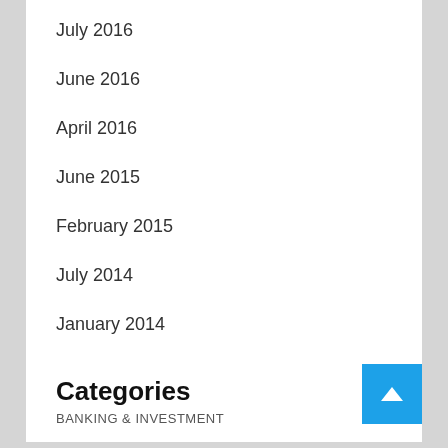July 2016
June 2016
April 2016
June 2015
February 2015
July 2014
January 2014
Categories
BANKING & INVESTMENT